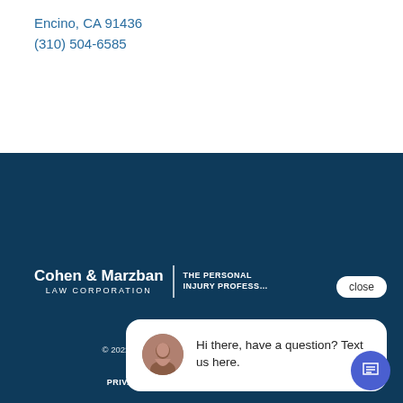Encino, CA 91436
(310) 504-6585
[Figure (logo): Cohen & Marzban Law Corporation logo with tagline 'The Personal Injury Professionals']
close
[Figure (photo): Chat widget showing avatar of a woman with text: Hi there, have a question? Text us here.]
© 2022 Cohen & Marzban Personal Injury Attorneys. All Rights Reserved.
PRIVACY & TERMS   DISCLAIMER